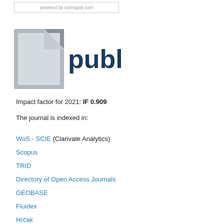powered by scimagojr.com
[Figure (logo): Publons logo — stylized grey document page icon with dark blue 'publons' text]
Impact factor for 2021: IF 0.909
The journal is indexed in:
WoS - SCIE (Clarivate Analytics)
Scopus
TRID
Directory of Open Access Journals
GEOBASE
Fluidex
Hrčak